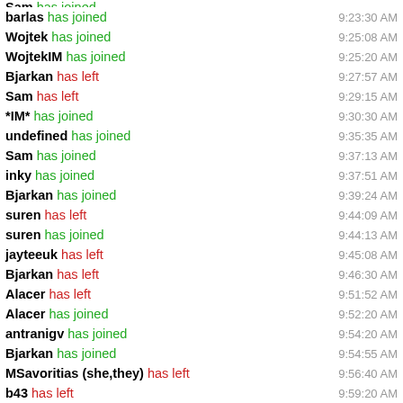barlas has joined 9:23:30 AM
Wojtek has joined 9:25:08 AM
WojtekIM has joined 9:25:20 AM
Bjarkan has left 9:27:57 AM
Sam has left 9:29:15 AM
*IM* has joined 9:30:30 AM
undefined has joined 9:35:35 AM
Sam has joined 9:37:13 AM
inky has joined 9:37:51 AM
Bjarkan has joined 9:39:24 AM
suren has left 9:44:09 AM
suren has joined 9:44:13 AM
jayteeuk has left 9:45:08 AM
Bjarkan has left 9:46:30 AM
Alacer has left 9:51:52 AM
Alacer has joined 9:52:20 AM
antranigv has joined 9:54:20 AM
Bjarkan has joined 9:54:55 AM
MSavoritias (she,they) has left 9:56:40 AM
b43 has left 9:59:20 AM
antranigv has left 9:59:43 AM
John has joined 10:00:19 AM
MSavoritias (she,they) has joined 10:01:26 AM
suren has left 10:03:06 AM
suren has joined 10:03:27 AM